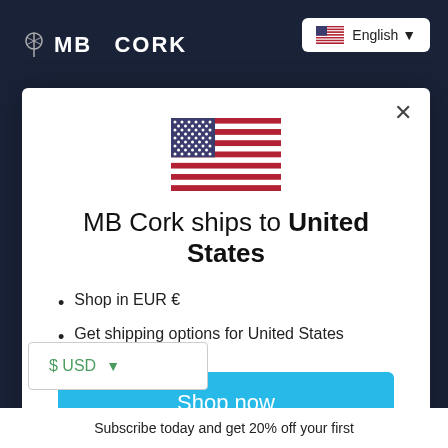MB Cork
English
[Figure (illustration): US flag emoji/icon]
MB Cork ships to United States
Shop in EUR €
Get shipping options for United States
Shop now
Change shipping country
$ USD
Subscribe today and get 20% off your first